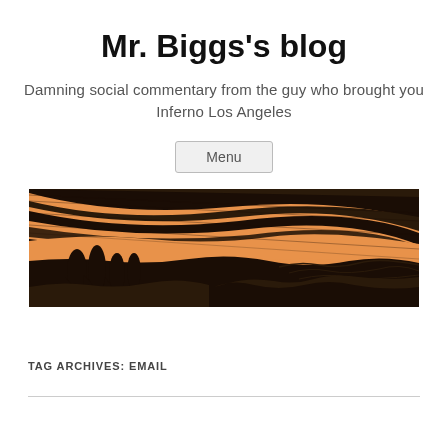Mr. Biggs's blog
Damning social commentary from the guy who brought you Inferno Los Angeles
Menu
[Figure (illustration): Horizontal banner illustration in black and orange tones showing stylized figures in a dramatic landscape with sweeping diagonal lines and a crowd in the background — comic book style artwork.]
TAG ARCHIVES: EMAIL